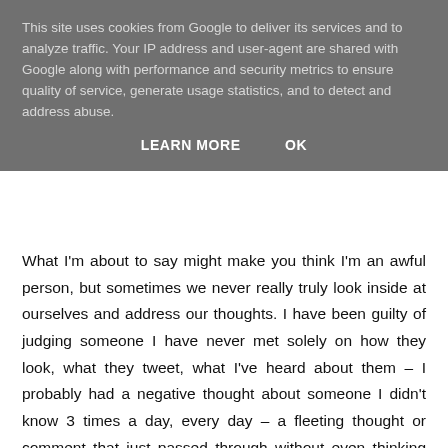This site uses cookies from Google to deliver its services and to analyze traffic. Your IP address and user-agent are shared with Google along with performance and security metrics to ensure quality of service, generate usage statistics, and to detect and address abuse.
LEARN MORE    OK
What I'm about to say might make you think I'm an awful person, but sometimes we never really truly look inside at ourselves and address our thoughts. I have been guilty of judging someone I have never met solely on how they look, what they tweet, what I've heard about them – I probably had a negative thought about someone I didn't know 3 times a day, every day – a fleeting thought or comment that just passed through without even thinking about it. We all make assumptions about people, it's